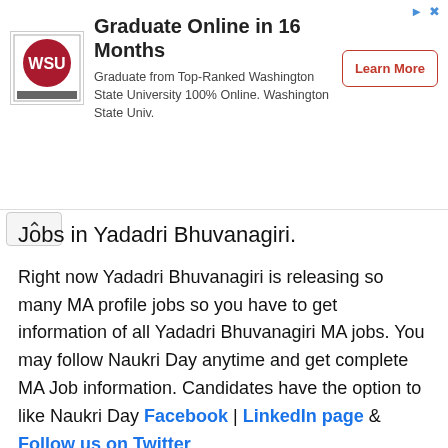[Figure (other): Advertisement banner: WSU logo on left, text 'Graduate Online in 16 Months - Graduate from Top-Ranked Washington State University 100% Online. Washington State Univ.' in center, 'Learn More' button on right.]
Jobs in Yadadri Bhuvanagiri.
Right now Yadadri Bhuvanagiri is releasing so many MA profile jobs so you have to get information of all Yadadri Bhuvanagiri MA jobs. You may follow Naukri Day anytime and get complete MA Job information. Candidates have the option to like Naukri Day Facebook | LinkedIn page & Follow us on Twitter.
Further queries of yours can Download Naukri Day App & Comment on below. We assure all MA Candidate that you will get detailed news of MA